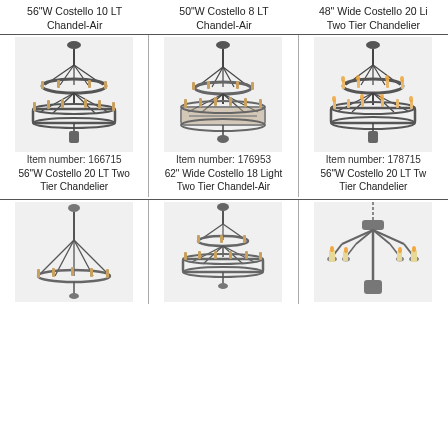56"W Costello 10 LT Chandel-Air
50"W Costello 8 LT Chandel-Air
48" Wide Costello 20 Light Two Tier Chandelier
[Figure (photo): Two-tier chandelier with candle lights, dark iron finish, Item number 166715]
Item number: 166715
56"W Costello 20 LT Two Tier Chandelier
[Figure (photo): Two-tier chandelier, Item number 176953]
Item number: 176953
62" Wide Costello 18 Light Two Tier Chandel-Air
[Figure (photo): Two-tier chandelier, Item number 178715]
Item number: 178715
56"W Costello 20 LT Two Tier Chandelier
[Figure (photo): Single tier chandelier, bottom row left]
[Figure (photo): Two-tier chandelier, bottom row center]
[Figure (photo): Tall chandelier with candles, bottom row right]